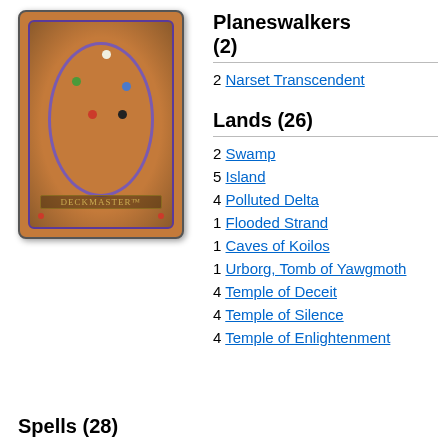[Figure (illustration): Magic: The Gathering card back showing the Deckmaster logo with colored mana dots on a brown/orange background with oval design]
Planeswalkers (2)
2 Narset Transcendent
Lands (26)
2 Swamp
5 Island
4 Polluted Delta
1 Flooded Strand
1 Caves of Koilos
1 Urborg, Tomb of Yawgmoth
4 Temple of Deceit
4 Temple of Silence
4 Temple of Enlightenment
Spells (28)